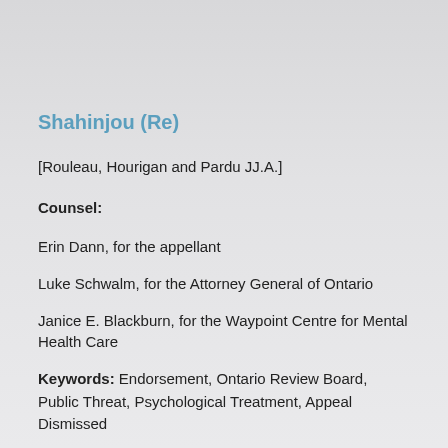Shahinjou (Re)
[Rouleau, Hourigan and Pardu JJ.A.]
Counsel:
Erin Dann, for the appellant
Luke Schwalm, for the Attorney General of Ontario
Janice E. Blackburn, for the Waypoint Centre for Mental Health Care
Keywords: Endorsement, Ontario Review Board, Public Threat, Psychological Treatment, Appeal Dismissed